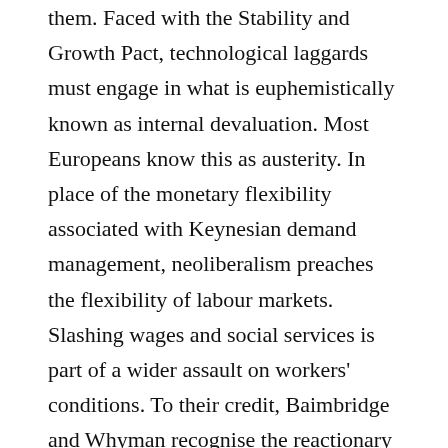them. Faced with the Stability and Growth Pact, technological laggards must engage in what is euphemistically known as internal devaluation. Most Europeans know this as austerity. In place of the monetary flexibility associated with Keynesian demand management, neoliberalism preaches the flexibility of labour markets. Slashing wages and social services is part of a wider assault on workers' conditions. To their credit, Baimbridge and Whyman recognise the reactionary forces driving this process (see pages 9 and 119). EMU has proven particularly effective for disciplining labour, but the end result has been to undermine purchasing power throughout the continent. According to their estimates, for every cut of 10 percent in government spending there is a 15 percent fall in GDP. This makes neoliberalism self-defeating—austerity